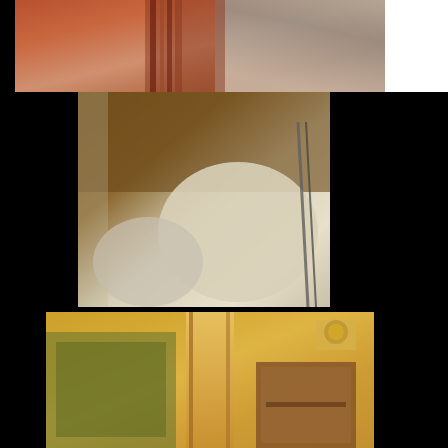[Figure (photo): Close-up photo collage strip, top portion showing skin tones and patterned fabric in reddish-brown hues]
[Figure (photo): Middle photo showing close-up abstract image with brown and white tones against dark side panels]
[Figure (photo): Bottom photo showing interior room with wooden furniture, cabinet, and warm yellow-orange walls]